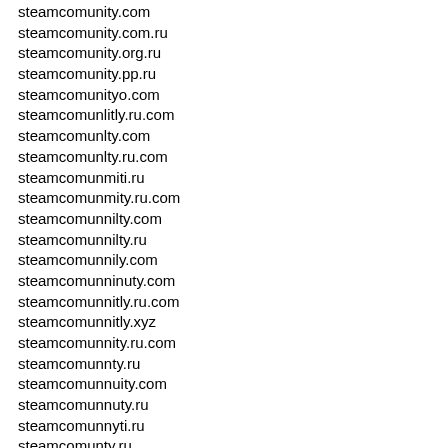steamcomunity.com
steamcomunity.com.ru
steamcomunity.org.ru
steamcomunity.pp.ru
steamcomunityo.com
steamcomunlitly.ru.com
steamcomunlty.com
steamcomunlty.ru.com
steamcomunmiti.ru
steamcomunmity.ru.com
steamcomunnilty.com
steamcomunnilty.ru
steamcomunnily.com
steamcomunninuty.com
steamcomunnitly.ru.com
steamcomunnitly.xyz
steamcomunnity.ru.com
steamcomunnty.ru
steamcomunnuity.com
steamcomunnuty.ru
steamcomunnyti.ru
steamcomunty.ru
steamcomunutiy.com.ru
steamcomunyiti.ru.com
steamcomunyti.com
steamcomunytiu.com